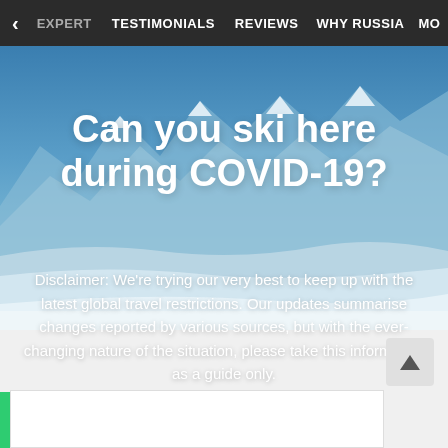< EXPERT   TESTIMONIALS   REVIEWS   WHY RUSSIA   MO
[Figure (photo): Snowy mountain ski resort landscape with blue sky, snow-covered peaks and ski slopes visible in the background.]
Can you ski here during COVID-19?
Disclaimer: We're trying our very best to keep up with the latest global travel restrictions. Our updates summarise changes reported by various sources, but with the ever-changing nature of the situation, please take this information as a guide only.